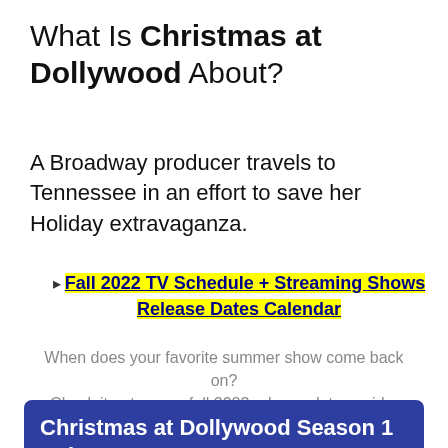What Is Christmas at Dollywood About?
A Broadway producer travels to Tennessee in an effort to save her Holiday extravaganza.
Fall 2022 TV Schedule + Streaming Shows Release Dates Calendar
When does your favorite summer show come back on? Check it out on our fall 2022 release dates guide.
Christmas at Dollywood Season 1 Release Date